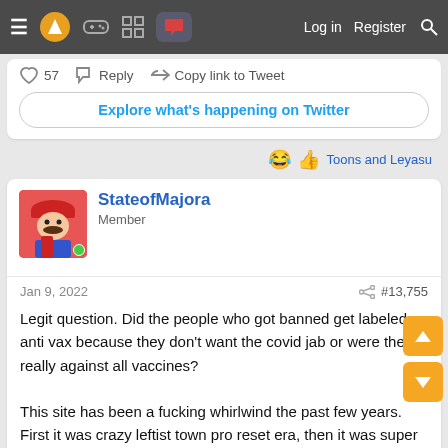☰ [logo] [game icon] [grid icon] [chat icon]  Log in  Register  [search]
♡ 57   ↩ Reply   🔗 Copy link to Tweet
Explore what's happening on Twitter
😂 👍 Toons and Leyasu
StateofMajora
Member
Jan 9, 2022   #13,755
Legit question. Did the people who got banned get labeled as anti vax because they don't want the covid jab or were they really against all vaccines?

This site has been a fucking whirlwind the past few years. First it was crazy leftist town pro reset era, then it was super